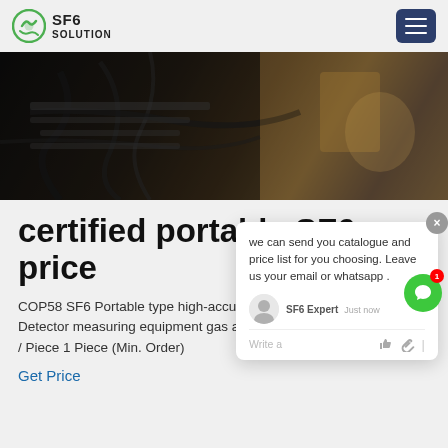SF6 SOLUTION
[Figure (photo): Aerial/overhead photo of cables and equipment on a dark surface with some items in the background, likely an outdoor work site or rooftop.]
[Figure (screenshot): Chat popup overlay with message: 'we can send you catalogue and price list for you choosing. Leave us your email or whatsapp .' with SF6 Expert agent and just now timestamp, write a message input row.]
certified portable SF6 price
COP58 SF6 Portable type high-accuracy quantitative Gas Leakage Detector measuring equipment gas alarm detector US $4598-$6298 / Piece 1 Piece (Min. Order)
Get Price